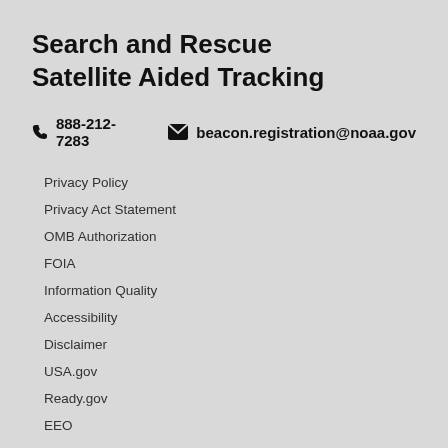Search and Rescue Satellite Aided Tracking
☎ 888-212-7283   ✉ beacon.registration@noaa.gov
Privacy Policy
Privacy Act Statement
OMB Authorization
FOIA
Information Quality
Accessibility
Disclaimer
USA.gov
Ready.gov
EEO
Commerce.gov